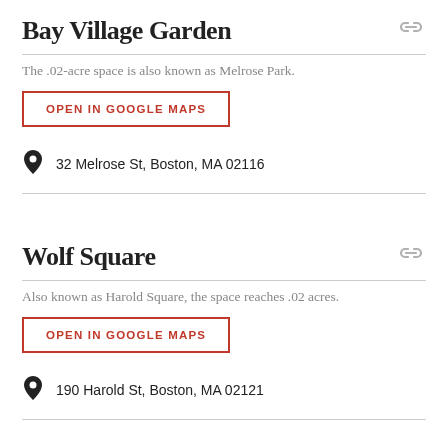Bay Village Garden
The .02-acre space is also known as Melrose Park.
OPEN IN GOOGLE MAPS
32 Melrose St, Boston, MA 02116
Wolf Square
Also known as Harold Square, the space reaches .02 acres.
OPEN IN GOOGLE MAPS
190 Harold St, Boston, MA 02121